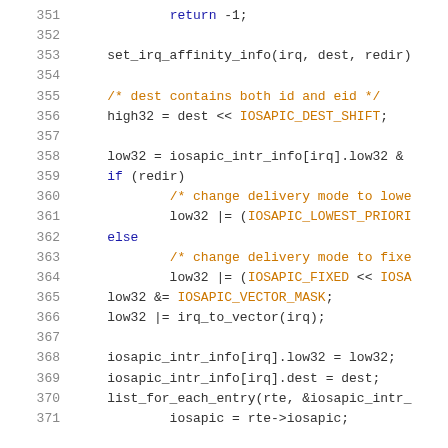Code listing lines 351–371, C source code for IOSAPIC interrupt routing
351     return -1;
352
353     set_irq_affinity_info(irq, dest, redir)
354
355     /* dest contains both id and eid */
356     high32 = dest << IOSAPIC_DEST_SHIFT;
357
358     low32 = iosapic_intr_info[irq].low32 &
359     if (redir)
360             /* change delivery mode to lowe
361             low32 |= (IOSAPIC_LOWEST_PRIORI
362     else
363             /* change delivery mode to fixe
364             low32 |= (IOSAPIC_FIXED << IOSA
365     low32 &= IOSAPIC_VECTOR_MASK;
366     low32 |= irq_to_vector(irq);
367
368     iosapic_intr_info[irq].low32 = low32;
369     iosapic_intr_info[irq].dest = dest;
370     list_for_each_entry(rte, &iosapic_intr_
371             iosapic = rte->iosapic;